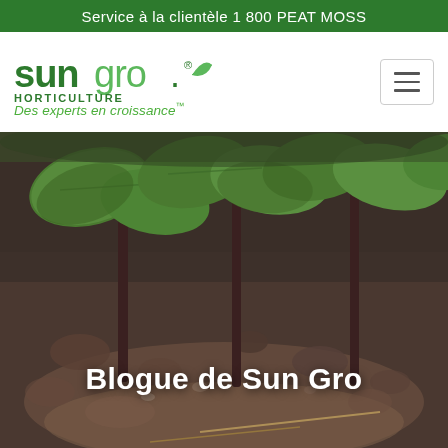Service à la clientèle 1 800 PEAT MOSS
[Figure (logo): Sun Gro Horticulture logo with green leaf motif and text 'sungro HORTICULTURE']
Des experts en croissance™
[Figure (photo): Close-up photo of young seedling plants growing in dark peat moss soil, stems visible with broad green leaves, blurred background]
Blogue de Sun Gro